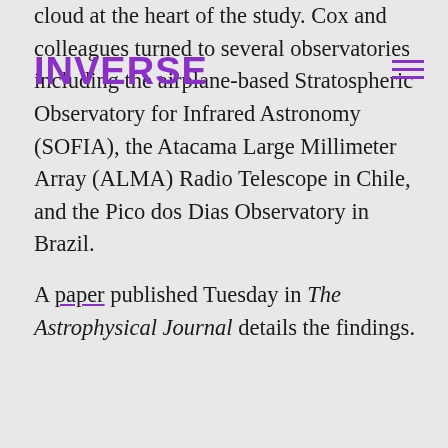INVERSE
cloud at the heart of the study. Cox and colleagues turned to several observatories including the airplane-based Stratospheric Observatory for Infrared Astronomy (SOFIA), the Atacama Large Millimeter Array (ALMA) Radio Telescope in Chile, and the Pico dos Dias Observatory in Brazil.

A paper published Tuesday in The Astrophysical Journal details the findings.
ADVERTISEMENT